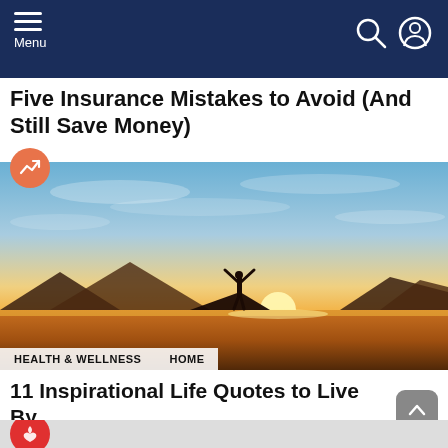Menu
Five Insurance Mistakes to Avoid (And Still Save Money)
[Figure (photo): Silhouette of a person with arms raised against a dramatic sunset over the ocean with mountains in the background. Tags: HEALTH & WELLNESS, HOME]
11 Inspirational Life Quotes to Live By